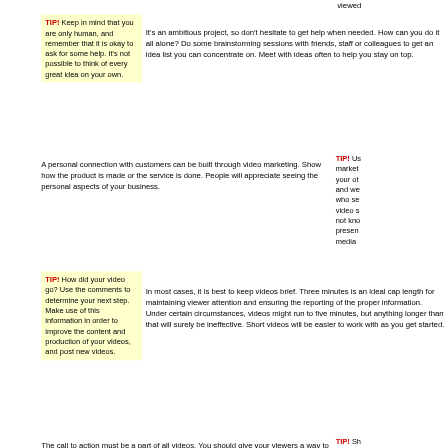viewed
TIP! Keep in mind that you are only human, and remember that it is okay to ask for some help. It's not possible to think of every great idea on your own.
It's an ambitious project, so don't hesitate to get help when needed. How can you do it all alone? Do some brainstorming sessions with friends, staff or colleagues to get an idea list you can concentrate on. Meet with ideas often to help you stay on top.
A personal connection with customers can be built through video marketing. Show how the product is made or the service is done. People will appreciate seeing the personal aspects of your business.
TIP! Use video marketing to give potential customers a more personal look at your business. Show how the product is made or the service is done. People will appreciate seeing the personal aspects of your business. Who sees the video not know that they present media
TIP! How did your video go? Use the comments to determine your next step. Make use of this information in order to improve the content and production of your videos, and post new videos.
In most cases, it is best to keep videos brief. Three minutes is an ideal cap length for maintaining viewer attention and ensuring the reporting of the proper information. Under certain circumstances, videos might run to five minutes, but anything longer than that will surely be ineffective. Short videos will be easier to work with as you get started.
The call to action must be a part of all videos. You should give your viewers a way to get to your videos. Provide simple, understandable instructions regarding next steps so that follow-through is fast and easy. Always end your
TIP! Share your video as much as possible. Email it to friends and family ones.